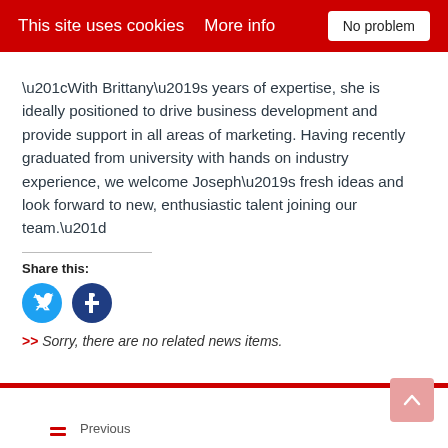This site uses cookies   More info   No problem
“With Brittany’s years of expertise, she is ideally positioned to drive business development and provide support in all areas of marketing. Having recently graduated from university with hands on industry experience, we welcome Joseph’s fresh ideas and look forward to new, enthusiastic talent joining our team.”
Share this:
[Figure (other): Twitter and Facebook social share icon buttons (circular icons)]
>> Sorry, there are no related news items.
Previous